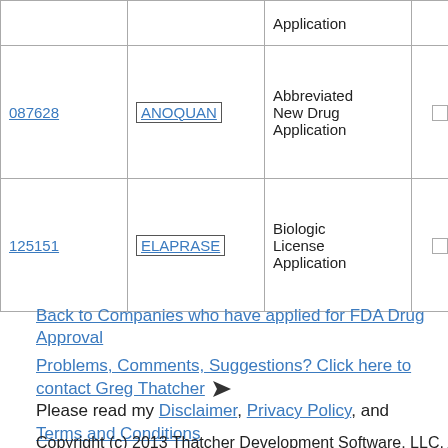|  |  | Application |  |  |  |
| --- | --- | --- | --- | --- | --- |
| 087628 | ANOQUAN | Abbreviated New Drug Application |  |  | Approv |
| 125151 | ELAPRASE | Biologic License Application |  |  | Approv |
Back to Companies who have applied for FDA Drug Approval
Problems, Comments, Suggestions? Click here to contact Greg Thatcher
Please read my Disclaimer, Privacy Policy, and Terms and Conditions
Copyright (c) 2013 Thatcher Development Software, LLC. All rights reserved. No claim to original U.S. Gov't works.